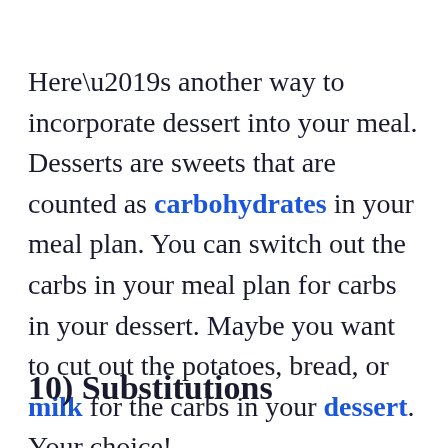Here’s another way to incorporate dessert into your meal. Desserts are sweets that are counted as carbohydrates in your meal plan. You can switch out the carbs in your meal plan for carbs in your dessert. Maybe you want to cut out the potatoes, bread, or milk for the carbs in your dessert. Your choice!
10) Substitutions